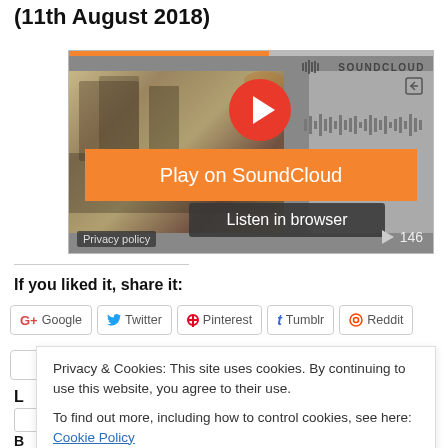(11th August 2018)
[Figure (screenshot): SoundCloud embedded music player widget showing a photo of people at a market/fair, a large red play button, an orange 'Play on SoundCloud' button, a dark 'Listen in browser' button, a waveform, play count of 146, and Privacy policy link. The widget has an orange progress bar at the top.]
If you liked it, share it:
G+ Google   Twitter   Pinterest   Tumblr   Reddit
Privacy & Cookies: This site uses cookies. By continuing to use this website, you agree to their use.
To find out more, including how to control cookies, see here: Cookie Policy
Close and accept
L
B